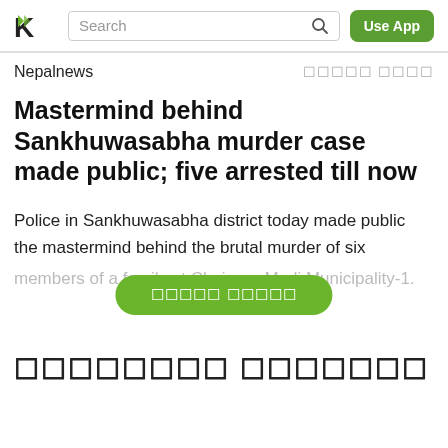Nepalnews [Nepali text] Search  Use App
Nepalnews   [Nepali text]
Mastermind behind Sankhuwasabha murder case made public; five arrested till now
Police in Sankhuwasabha district today made public the mastermind behind the brutal murder of six members of a family at Chainpur Madi Municipality-1.
[Nepali button text]
[Nepali heading text]